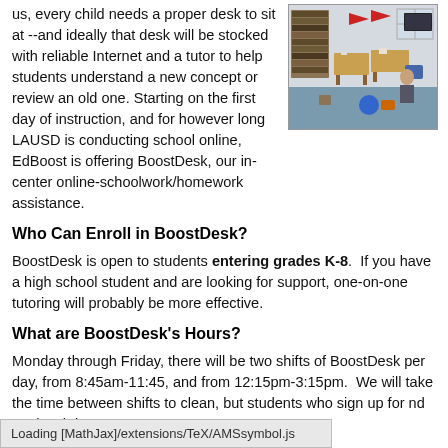us, every child needs a proper desk to sit at --and ideally that desk will be stocked with reliable Internet and a tutor to help students understand a new concept or review an old one. Starting on the first day of instruction, and for however long LAUSD is conducting school online, EdBoost is offering BoostDesk, our in-center online-schoolwork/homework assistance.
[Figure (photo): Photo of a classroom with desks, chairs, bookshelves, and students working]
Who Can Enroll in BoostDesk?
BoostDesk is open to students entering grades K-8. If you have a high school student and are looking for support, one-on-one tutoring will probably be more effective.
What are BoostDesk's Hours?
Monday through Friday, there will be two shifts of BoostDesk per day, from 8:45am-11:45, and from 12:15pm-3:15pm. We will take the time between shifts to clean, but students who sign up for [continues] nd eat lunch between
Loading [MathJax]/extensions/TeX/AMSsymbol.js